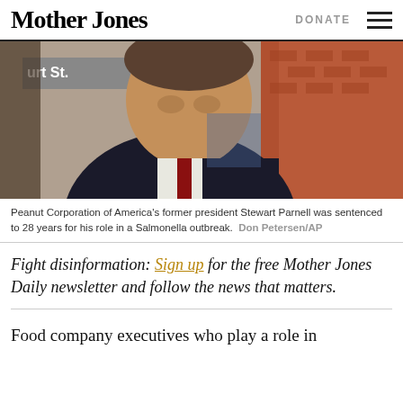Mother Jones | DONATE
[Figure (photo): Close-up photo of a middle-aged man in a dark suit and red tie standing in front of a brick building with a sign reading 'urt St.']
Peanut Corporation of America's former president Stewart Parnell was sentenced to 28 years for his role in a Salmonella outbreak.  Don Petersen/AP
Fight disinformation: Sign up for the free Mother Jones Daily newsletter and follow the news that matters.
Food company executives who play a role in